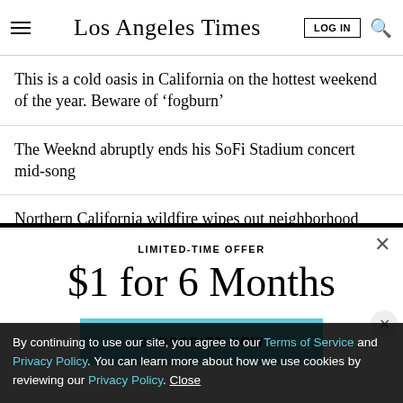Los Angeles Times
This is a cold oasis in California on the hottest weekend of the year. Beware of 'fogburn'
The Weeknd abruptly ends his SoFi Stadium concert mid-song
Northern California wildfire wipes out neighborhood with frightening speed
LIMITED-TIME OFFER
$1 for 6 Months
SUBSCRIBE NOW
By continuing to use our site, you agree to our Terms of Service and Privacy Policy. You can learn more about how we use cookies by reviewing our Privacy Policy. Close